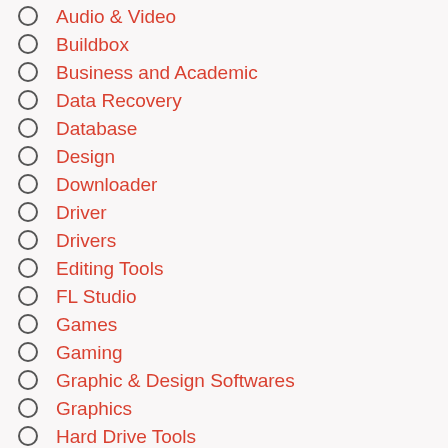Audio & Video
Buildbox
Business and Academic
Data Recovery
Database
Design
Downloader
Driver
Drivers
Editing Tools
FL Studio
Games
Gaming
Graphic & Design Softwares
Graphics
Hard Drive Tools